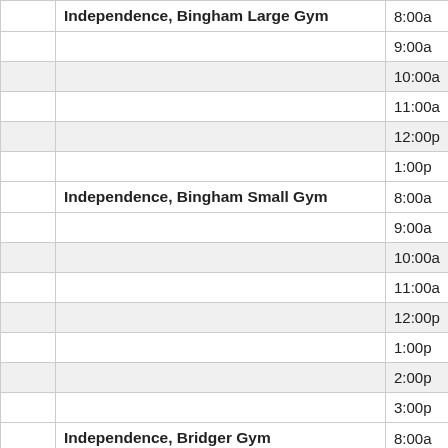|  | Location | Time |
| --- | --- | --- |
|  | Independence, Bingham Large Gym | 8:00a |
|  |  | 9:00a |
|  |  | 10:00a |
|  |  | 11:00a |
|  |  | 12:00p |
|  |  | 1:00p |
|  | Independence, Bingham Small Gym | 8:00a |
|  |  | 9:00a |
|  |  | 10:00a |
|  |  | 11:00a |
|  |  | 12:00p |
|  |  | 1:00p |
|  |  | 2:00p |
|  |  | 3:00p |
|  | Independence, Bridger Gym | 8:00a |
|  |  | 9:00a |